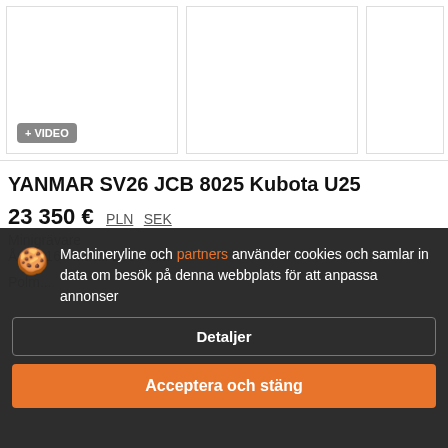[Figure (photo): Three image thumbnails in a gallery row; the first has a '+ VIDEO' badge overlay]
YANMAR SV26 JCB 8025 Kubota U25
23 350 €  PLN  SEK
Minigrävare
År: 2016  Mtrat: 2864 m/h
Polm...
Machineryline och partners använder cookies och samlar in data om besök på denna webbplats för att anpassa annonser
Detaljer
Acceptera och stäng